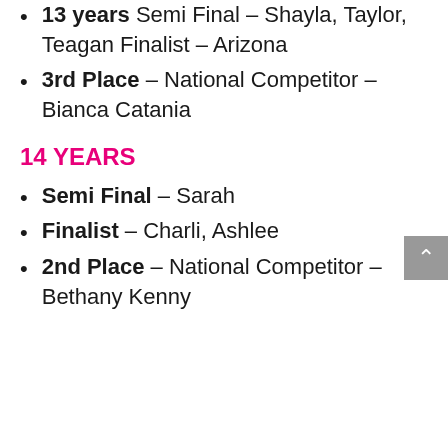13 years Semi Final – Shayla, Taylor, Teagan Finalist – Arizona
3rd Place – National Competitor – Bianca Catania
14 YEARS
Semi Final – Sarah
Finalist – Charli, Ashlee
2nd Place – National Competitor – Bethany Kenny